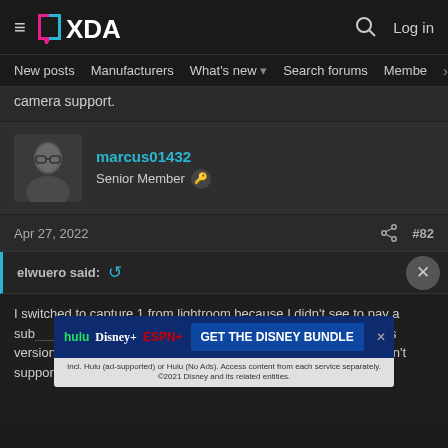≡ XDA | 🔍 Log in
New posts  Manufacturers  What's new ▾  Search forums  Membe  >
camera support.
marcus01432
Senior Member 🔑
Apr 27, 2022  #82
elwuero said: ↺
I switched to capture 1 from lightroom because I didn't want to pay a subscription price and thought that an outright purchase should be forced on previous versions and I want to buy new licenses and the older versions don't support the new cameras, either way im paying monthly or yearly.